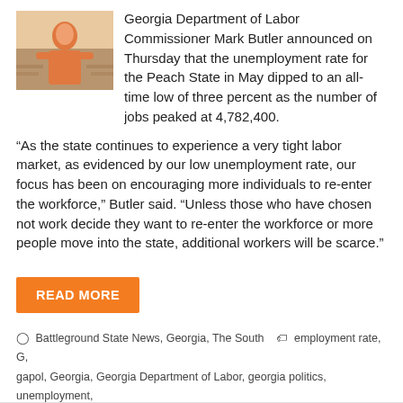[Figure (photo): Photo of a woman, appears to be in a store or market setting, warm tones]
Georgia Department of Labor Commissioner Mark Butler announced on Thursday that the unemployment rate for the Peach State in May dipped to an all-time low of three percent as the number of jobs peaked at 4,782,400.
“As the state continues to experience a very tight labor market, as evidenced by our low unemployment rate, our focus has been on encouraging more individuals to re-enter the workforce,” Butler said. “Unless those who have chosen not work decide they want to re-enter the workforce or more people move into the state, additional workers will be scarce.”
READ MORE
Battleground State News, Georgia, The South • employment rate, G, gapol, Georgia, Georgia Department of Labor, georgia politics, unemployment, unemployment georgia, unemployment rate | Leave a comment